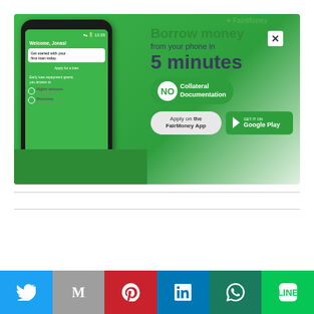[Figure (screenshot): FairMoney mobile app advertisement showing a smartphone with loan app interface on the left, and promotional text 'Borrow money from your phone in 5 minutes' with 'NO Collateral Documentation' badge, Apply on FairMoney App button, and Google Play button on a green background. A close (X) button is in the top right corner.]
[Figure (infographic): Gray circular scroll-to-top button with upward triangle arrow icon]
[Figure (infographic): Social sharing bar with Twitter (blue), Gmail (gray M), Pinterest (red), LinkedIn (blue), WhatsApp (teal), and Line (green) icon buttons]